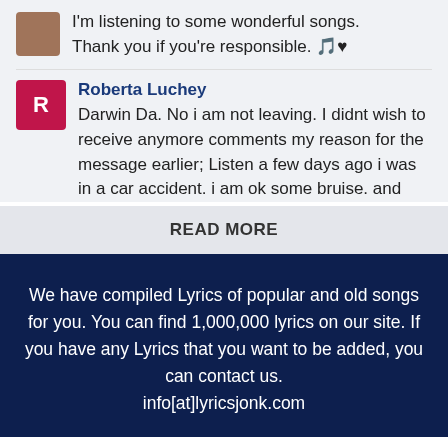I'm listening to some wonderful songs. Thank you if you're responsible. 🎵❤
Roberta Luchey
Darwin Da. No i am not leaving. I didnt wish to receive anymore comments my reason for the message earlier; Listen a few days ago i was in a car accident. i am ok some bruise. and
READ MORE
We have compiled Lyrics of popular and old songs for you. You can find 1,000,000 lyrics on our site. If you have any Lyrics that you want to be added, you can contact us.
info[at]lyricsjonk.com